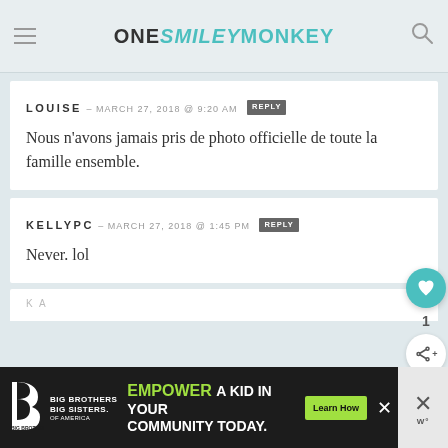ONE SMILEY MONKEY
LOUISE – MARCH 27, 2018 @ 9:20 AM  [REPLY]
Nous n'avons jamais pris de photo officielle de toute la famille ensemble.
KELLYPC – MARCH 27, 2018 @ 1:45 PM  [REPLY]
Never. lol
[Figure (infographic): Big Brothers Big Sisters advertisement banner: 'EMPOWER A KID IN YOUR COMMUNITY TODAY. Learn How']